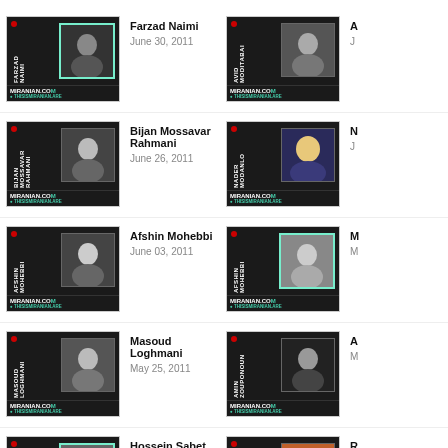[Figure (other): Thumbnail for Farzad Naimi podcast episode on MIRANIAN.COM]
Farzad Naimi
June 30, 2011
[Figure (other): Thumbnail for right-column episode on MIRANIAN.COM (partially visible)]
June
[Figure (other): Thumbnail for Bijan Mossavar Rahmani podcast episode on MIRANIAN.COM]
Bijan Mossavar Rahmani
June 26, 2011
[Figure (other): Thumbnail for Nader Modanlo episode on MIRANIAN.COM (partially visible)]
N
J
[Figure (other): Thumbnail for Afshin Mohebbi podcast episode on MIRANIAN.COM]
Afshin Mohebbi
June 03, 2011
[Figure (other): Thumbnail for Afshin Mohebbi second episode on MIRANIAN.COM (partially visible)]
M
M
[Figure (other): Thumbnail for Masoud Loghmani podcast episode on MIRANIAN.COM]
Masoud Loghmani
May 25, 2011
[Figure (other): Thumbnail for Amin Zouponoun episode on MIRANIAN.COM (partially visible)]
A
M
[Figure (other): Thumbnail for Hossein Sabet Baktash podcast episode on MIRANIAN.COM]
Hossein Sabet Baktash
May 17, 2011
[Figure (other): Thumbnail for right-column episode (partially visible)]
R